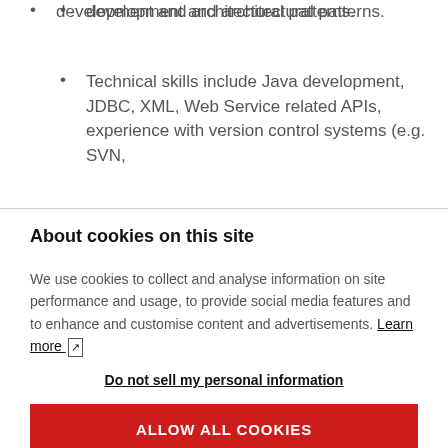development and architectural patterns.
Technical skills include Java development, JDBC, XML, Web Service related APIs, experience with version control systems (e.g. SVN,
About cookies on this site
We use cookies to collect and analyse information on site performance and usage, to provide social media features and to enhance and customise content and advertisements. Learn more
Do not sell my personal information
ALLOW ALL COOKIES